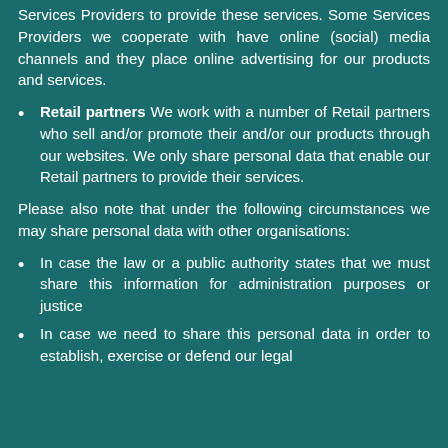Services Providers to provide these services. Some Services Providers we cooperate with have online (social) media channels and they place online advertising for our products and services.
Retail partners We work with a number of Retail partners who sell and/or promote their and/or our products through our websites. We only share personal data that enable our Retail partners to provide their services.
Please also note that under the following circumstances we may share personal data with other organisations:
In case the law or a public authority states that we must share this information for administration purposes or justice
In case we need to share this personal data in order to establish, exercise or defend our legal